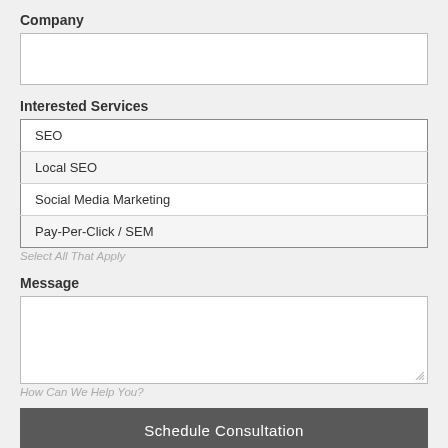Company
[Figure (other): Empty text input field for Company]
Interested Services
SEO
Local SEO
Social Media Marketing
Pay-Per-Click / SEM
Select All That Apply
Message
[Figure (other): Empty textarea input field for Message]
How Can We Help You?
Schedule Consultation